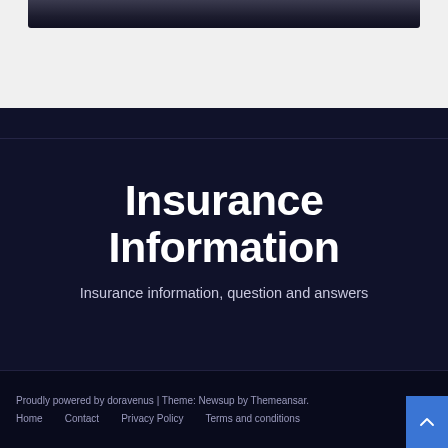[Figure (photo): Dark image strip at top of page showing partial photo of people]
Insurance Information
Insurance information, question and answers
Proudly powered by doravenus | Theme: Newsup by Themeansar.
Home   Contact   Privacy Policy   Terms and conditions